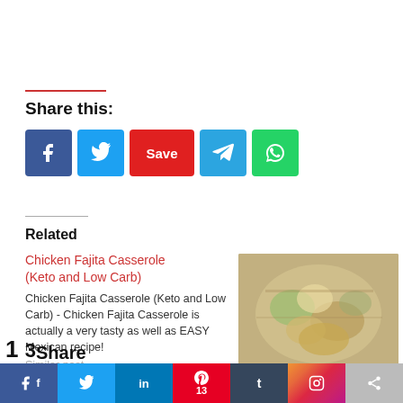Share this:
[Figure (infographic): Social share buttons: Facebook, Twitter, Pinterest Save, Telegram, WhatsApp]
Related
Chicken Fajita Casserole (Keto and Low Carb)
Chicken Fajita Casserole (Keto and Low Carb) - Chicken Fajita Casserole is actually a very tasty as well as EASY Mexican recipe!
Similar post
[Figure (photo): Photo of Broccoli Chicken Divan casserole dish]
Broccoli Chicken Divan
In "Chicken recipes"
13 share — social share bar: f, Twitter, in, Pinterest 13, t, Instagram, share